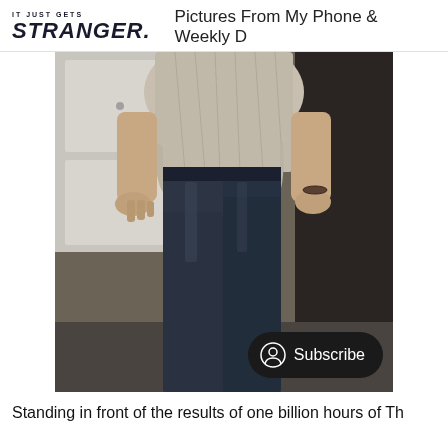IT JUST GETS STRANGER. Pictures From My Phone & Weekly D
[Figure (photo): Person standing in front of white cabinets and dark appliance, wearing a light button-up shirt and dark jeans, cropped at torso and legs]
Standing in front of the results of one billion hours of Th